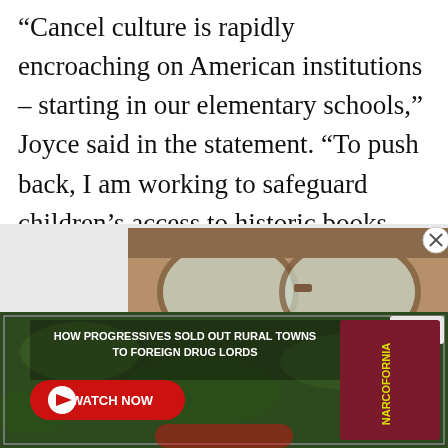“Cancel culture is rapidly encroaching on American institutions – starting in our elementary schools,” Joyce said in the statement. “To push back, I am working to safeguard children’s access to historic books and characters.”
[Figure (photo): Advertisement for 'Narcofornia' showing sunglasses with a red and yellow 'NARCOFORNIA' text on a dark maroon card held up, with a close X button in the upper right corner and a circular X button on the right side.]
[Figure (screenshot): Second Narcofornia advertisement banner showing text 'HOW PROGRESSIVES SOLD OUT RURAL TOWNS TO FOREIGN DRUG LORDS' with a red Watch Now button and the Narcofornia logo on a green leafy background.]